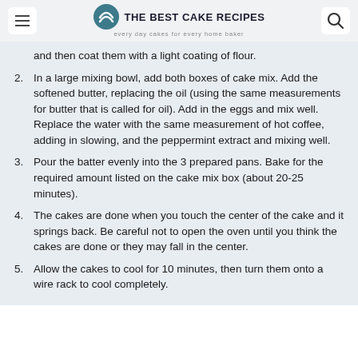THE BEST CAKE RECIPES — every day cakes for every home baker
and then coat them with a light coating of flour.
2. In a large mixing bowl, add both boxes of cake mix. Add the softened butter, replacing the oil (using the same measurements for butter that is called for oil). Add in the eggs and mix well. Replace the water with the same measurement of hot coffee, adding in slowing, and the peppermint extract and mixing well.
3. Pour the batter evenly into the 3 prepared pans. Bake for the required amount listed on the cake mix box (about 20-25 minutes).
4. The cakes are done when you touch the center of the cake and it springs back. Be careful not to open the oven until you think the cakes are done or they may fall in the center.
5. Allow the cakes to cool for 10 minutes, then turn them onto a wire rack to cool completely.